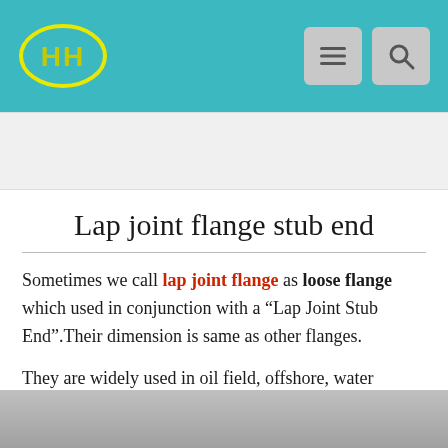HH logo with navigation menu and search buttons
[Figure (other): Advertisement banner placeholder (gray background)]
Lap joint flange stub end
Sometimes we call lap joint flange as loose flange which used in conjunction with a “Lap Joint Stub End”.Their dimension is same as other flanges.
They are widely used in oil field, offshore, water system,shipbuilding,natural gas,electric power,and pipe projects.
[Figure (photo): Photograph of a lap joint flange stub end product (gray metal component)]